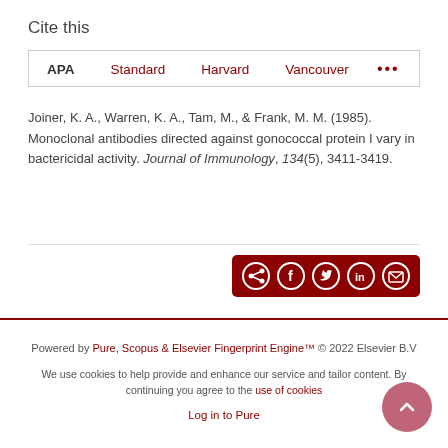Cite this
APA   Standard   Harvard   Vancouver   ...
Joiner, K. A., Warren, K. A., Tam, M., & Frank, M. M. (1985). Monoclonal antibodies directed against gonococcal protein I vary in bactericidal activity. Journal of Immunology, 134(5), 3411-3419.
[Figure (infographic): Share bar with icons for share, Facebook, Twitter, LinkedIn, and email on dark red background]
Powered by Pure, Scopus & Elsevier Fingerprint Engine™ © 2022 Elsevier B.V
We use cookies to help provide and enhance our service and tailor content. By continuing you agree to the use of cookies
Log in to Pure